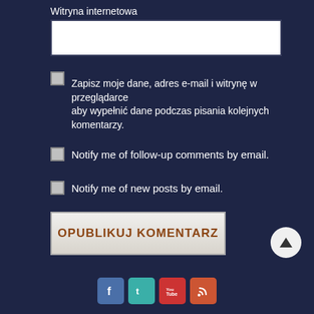Witryna internetowa
[Figure (screenshot): Text input field (white rectangle) for website URL entry]
Zapisz moje dane, adres e-mail i witrynę w przeglądarce aby wypełnić dane podczas pisania kolejnych komentarzy.
Notify me of follow-up comments by email.
Notify me of new posts by email.
OPUBLIKUJ KOMENTARZ
[Figure (screenshot): Social media icons: Facebook, Twitter, YouTube, RSS at the bottom of the page]